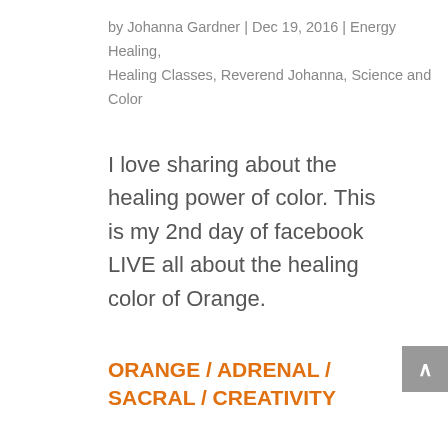by Johanna Gardner | Dec 19, 2016 | Energy Healing, Healing Classes, Reverend Johanna, Science and Color
I love sharing about the healing power of color. This is my 2nd day of facebook LIVE all about the healing color of Orange.
ORANGE / ADRENAL / SACRAL / CREATIVITY
Orange is used for creativity, deflecting danger, a feeling of ‘home’
ORANGE FOODS: